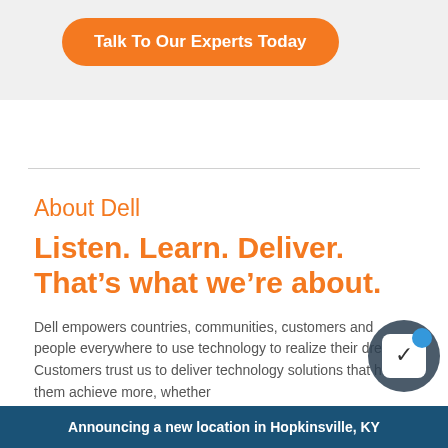[Figure (other): Orange rounded rectangle button with white text reading 'Talk To Our Experts Today' on a light gray background section]
About Dell
Listen. Learn. Deliver. That's what we're about.
Dell empowers countries, communities, customers and people everywhere to use technology to realize their dreams. Customers trust us to deliver technology solutions that help them achieve more, whether...
Announcing a new location in Hopkinsville, KY